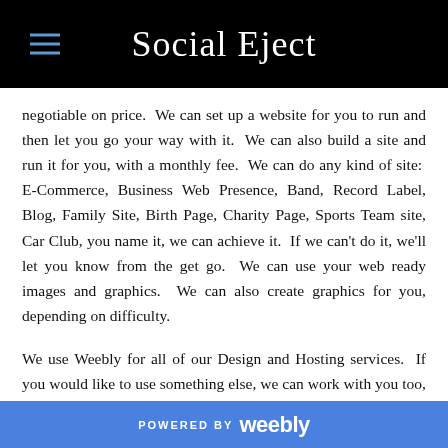Social Eject
negotiable on price.  We can set up a website for you to run and then let you go your way with it.  We can also build a site and run it for you, with a monthly fee.  We can do any kind of site:  E-Commerce, Business Web Presence, Band, Record Label, Blog, Family Site, Birth Page, Charity Page, Sports Team site, Car Club, you name it, we can achieve it.  If we can't do it, we'll let you know from the get go.  We can use your web ready images and graphics.  We can also create graphics for you, depending on difficulty.
We use Weebly for all of our Design and Hosting services.  If you would like to use something else, we can work with you too, just keep in mind there will be a learning curve and we'll have to charge for that time spent as well.  If you'd like to get a look at
POWERED BY weebly